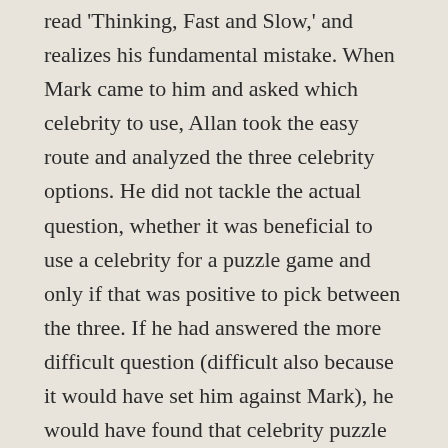read 'Thinking, Fast and Slow,' and realizes his fundamental mistake. When Mark came to him and asked which celebrity to use, Allan took the easy route and analyzed the three celebrity options. He did not tackle the actual question, whether it was beneficial to use a celebrity for a puzzle game and only if that was positive to pick between the three. If he had answered the more difficult question (difficult also because it would have set him against Mark), he would have found that celebrity puzzle games are never successful, regardless of the celebrity. Although it may have created tensions at the time with Mark, he probably would have been given an opportunity to create a game with a higher likelihood of success and still be in his position.